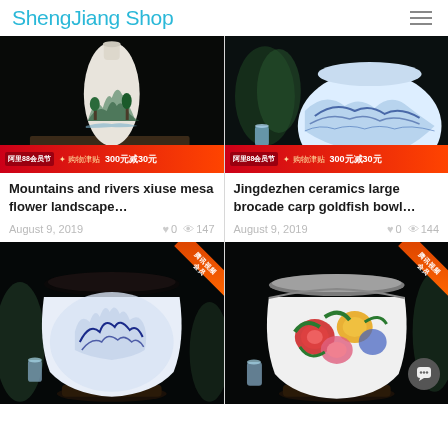ShengJiang Shop
[Figure (photo): Blue and white Chinese landscape vase on dark background with promotional banner: 阿里88会员节 购物津贴 300元减30元]
[Figure (photo): Large blue and white Chinese ceramic goldfish bowl on dark background with promotional banner: 阿里88会员节 购物津贴 300元减30元]
Mountains and rivers xiuse mesa flower landscape…
Jingdezhen ceramics large brocade carp goldfish bowl…
August 9, 2019  ♥ 0  👁 147
August 9, 2019  ♥ 0  👁 144
[Figure (photo): Large blue and white Chinese ceramic bowl with figures design on dark background with orange ribbon badge]
[Figure (photo): Large Chinese ceramic bowl with colorful peony flower design on dark background with orange ribbon badge]